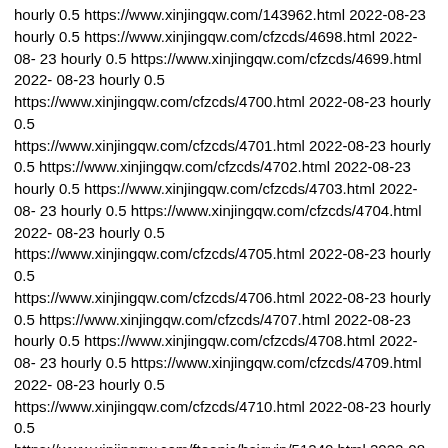hourly 0.5 https://www.xinjingqw.com/143962.html 2022-08-23 hourly 0.5 https://www.xinjingqw.com/cfzcds/4698.html 2022-08-23 hourly 0.5 https://www.xinjingqw.com/cfzcds/4699.html 2022-08-23 hourly 0.5 https://www.xinjingqw.com/cfzcds/4700.html 2022-08-23 hourly 0.5 https://www.xinjingqw.com/cfzcds/4701.html 2022-08-23 hourly 0.5 https://www.xinjingqw.com/cfzcds/4702.html 2022-08-23 hourly 0.5 https://www.xinjingqw.com/cfzcds/4703.html 2022-08-23 hourly 0.5 https://www.xinjingqw.com/cfzcds/4704.html 2022-08-23 hourly 0.5 https://www.xinjingqw.com/cfzcds/4705.html 2022-08-23 hourly 0.5 https://www.xinjingqw.com/cfzcds/4706.html 2022-08-23 hourly 0.5 https://www.xinjingqw.com/cfzcds/4707.html 2022-08-23 hourly 0.5 https://www.xinjingqw.com/cfzcds/4708.html 2022-08-23 hourly 0.5 https://www.xinjingqw.com/cfzcds/4709.html 2022-08-23 hourly 0.5 https://www.xinjingqw.com/cfzcds/4710.html 2022-08-23 hourly 0.5 https://www.xinjingqw.com/fteopic/hsigyin/51240.html 2022-08-23 hourly 0.5 https://www.xinjingqw.com/fteopic/hsigyin/51239.html 2022-08-23 hourly 0.5 https://www.xinjingqw.com/fteopic/hsigyin/51241.html 2022-08-23 hourly 0.5 https://www.xinjingqw.com/fteopic/hsigyin/51244.html 2022-08-23 hourly 0.5